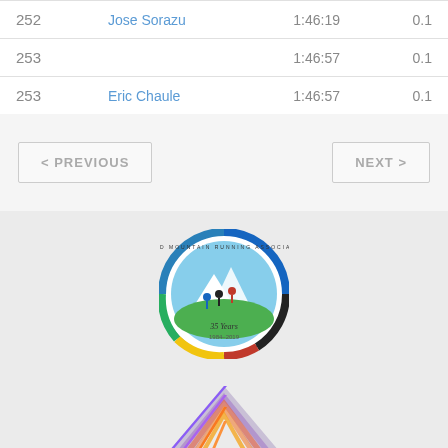| # | Name | Time | Points |
| --- | --- | --- | --- |
| 252 | Jose Sorazu | 1:46:19 | 0.1 |
| 253 |  | 1:46:57 | 0.1 |
| 253 | Eric Chaule | 1:46:57 | 0.1 |
< PREVIOUS
NEXT >
[Figure (logo): World Mountain Running Association 35 Years 1984-2019 circular badge logo]
[Figure (logo): World Athletics logo - geometric diamond shape with orange and purple gradient stripes]
WORLD